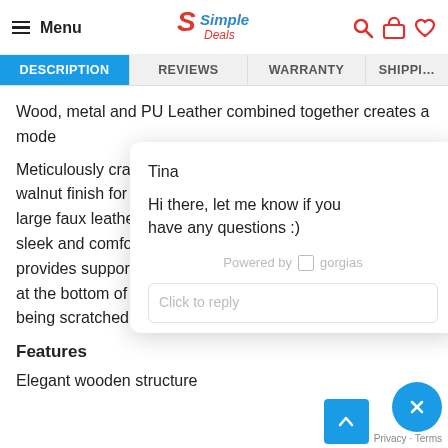Menu | Simple Deals | [search] [cart] [wishlist]
DESCRIPTION | REVIEWS | WARRANTY | SHIPPI…
Wood, metal and PU Leather combined together creates a mode…
Meticulously cra… walnut finish for … large faux leathe… sleek and comfo… provides suppor… at the bottom of the legs stop your floor from being scratched.
Tina
Hi there, let me know if you have any questions :)
Powered by gorgias
Click to reply
Features
Elegant wooden structure